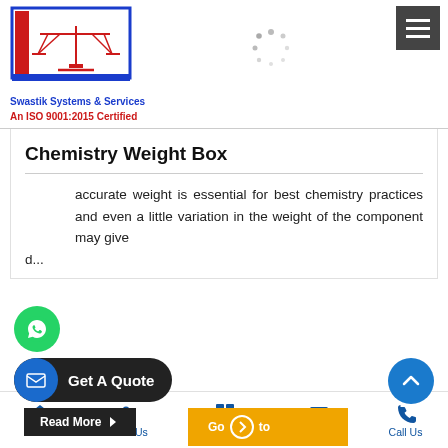[Figure (logo): Swastik Systems & Services logo with balance scale in red, on blue bordered frame]
Swastik Systems & Services
An ISO 9001:2015 Certified
[Figure (screenshot): Hamburger menu icon (three horizontal white bars on dark background)]
[Figure (screenshot): Loading spinner (circular dots)]
Chemistry Weight Box
accurate weight is essential for best chemistry practices and even a little variation in the weight of the component may give d...
[Figure (screenshot): WhatsApp icon button (green circle with phone handset)]
[Figure (screenshot): Get A Quote button - dark pill shaped with email icon]
[Figure (screenshot): Read More button - dark rectangle]
[Figure (screenshot): Go to button - orange rectangle]
[Figure (screenshot): Scroll up button - blue circle with up chevron]
Home   About Us   Our Range   Contact   Call Us